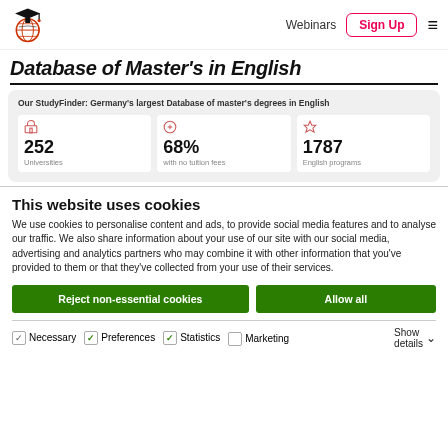Webinars | Sign Up
Database of Master's in English
[Figure (infographic): StudyFinder stats card showing: 252 Universities, 68% with no tuition fees, 1787 English programs. Header reads: Our StudyFinder: Germany's largest Database of master's degrees in English]
This website uses cookies
We use cookies to personalise content and ads, to provide social media features and to analyse our traffic. We also share information about your use of our site with our social media, advertising and analytics partners who may combine it with other information that you've provided to them or that they've collected from your use of their services.
Reject non-essential cookies  |  Allow all
Necessary  Preferences  Statistics  Marketing  Show details